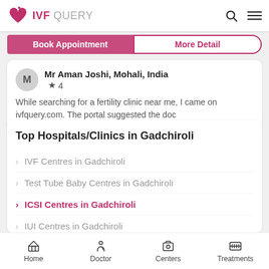IVF QUERY
Book Appointment | More Detail
Mr Aman Joshi, Mohali, India ★ 4
While searching for a fertility clinic near me, I came on ivfquery.com. The portal suggested the doc
Top Hospitals/Clinics in Gadchiroli
IVF Centres in Gadchiroli
Test Tube Baby Centres in Gadchiroli
ICSI Centres in Gadchiroli
IUI Centres in Gadchiroli
Surrogacy Centres in Gadchiroli
Home | Doctor | Centers | Treatments